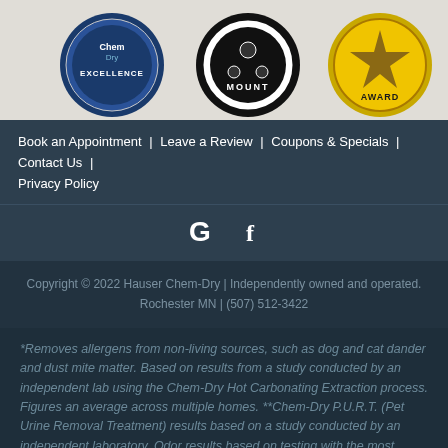[Figure (photo): Three circular award badges/logos: Chem-Dry Excellence badge (blue), Mount badge (black and white), and a gold star Award badge, displayed on a light gray/beige background.]
Book an Appointment | Leave a Review | Coupons & Specials | Contact Us | Privacy Policy
[Figure (logo): Google G icon and Facebook icon in white, displayed as social media links.]
Copyright © 2022 Hauser Chem-Dry | Independently owned and operated. Rochester MN | (507) 512-3422
*Removes allergens from non-living sources, such as dog and cat dander and dust mite matter. Based on results from a study conducted by an independent lab using the Chem-Dry Hot Carbonating Extraction process. Figures an average across multiple homes. **Chem-Dry P.U.R.T. (Pet Urine Removal Treatment) results based on a study conducted by an independent laboratory. Odor results based on testing with the most common odor sources found in dog and cat urine.